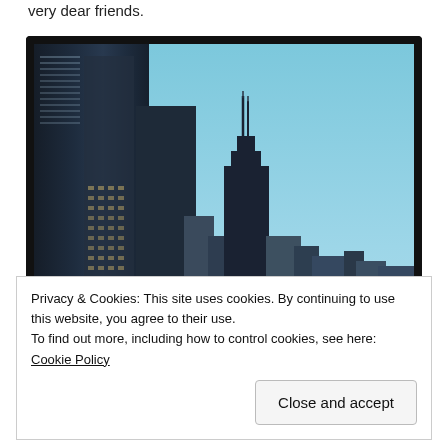very dear friends.
[Figure (photo): Instagram-filtered photo of Chicago skyline featuring tall skyscrapers including what appears to be the Willis Tower, against a blue sky, with a dark border/frame around the image.]
Privacy & Cookies: This site uses cookies. By continuing to use this website, you agree to their use.
To find out more, including how to control cookies, see here: Cookie Policy
Close and accept